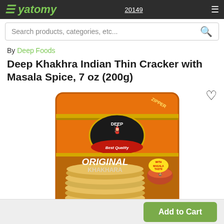Search products, categories, etc...
By Deep Foods
Deep Khakhra Indian Thin Cracker with Masala Spice, 7 oz (200g)
[Figure (photo): Product photo of Deep Khakhra Original Khakhara package in orange zipper bag with Deep brand logo and Best Quality label, showing round thin crackers inside]
Add to Cart